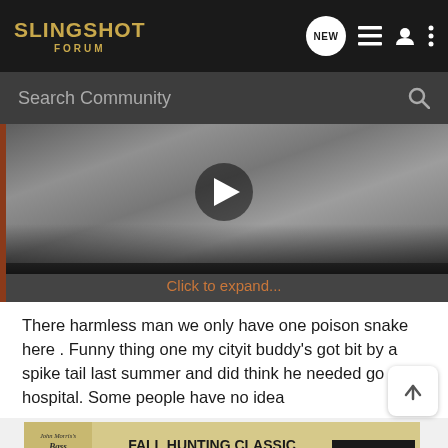SLINGSHOT FORUM
[Figure (screenshot): Search bar with 'Search Community' placeholder and magnifying glass icon]
[Figure (screenshot): Video thumbnail with play button and 'Click to expand...' link below]
There harmless man we only have one poison snake here . Funny thing one my cityit buddy's got bit by a spike tail last summer and did think he needed go hospital. Some people have no idea
[Figure (screenshot): Back to top arrow button and Bass Pro Shops advertisement - FALL HUNTING CLASSIC SAVE UP TO 30% - SHOP NOW]